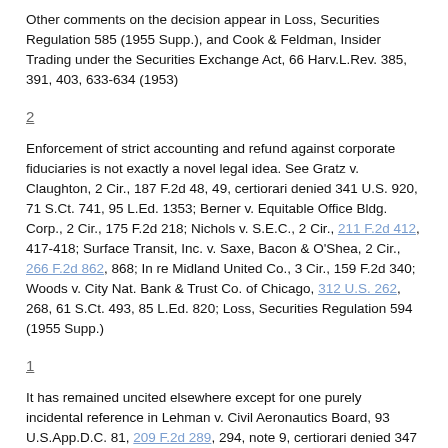Other comments on the decision appear in Loss, Securities Regulation 585 (1955 Supp.), and Cook & Feldman, Insider Trading under the Securities Exchange Act, 66 Harv.L.Rev. 385, 391, 403, 633-634 (1953)
2
Enforcement of strict accounting and refund against corporate fiduciaries is not exactly a novel legal idea. See Gratz v. Claughton, 2 Cir., 187 F.2d 48, 49, certiorari denied 341 U.S. 920, 71 S.Ct. 741, 95 L.Ed. 1353; Berner v. Equitable Office Bldg. Corp., 2 Cir., 175 F.2d 218; Nichols v. S.E.C., 2 Cir., 211 F.2d 412, 417-418; Surface Transit, Inc. v. Saxe, Bacon & O'Shea, 2 Cir., 266 F.2d 862, 868; In re Midland United Co., 3 Cir., 159 F.2d 340; Woods v. City Nat. Bank & Trust Co. of Chicago, 312 U.S. 262, 268, 61 S.Ct. 493, 85 L.Ed. 820; Loss, Securities Regulation 594 (1955 Supp.)
1
It has remained uncited elsewhere except for one purely incidental reference in Lehman v. Civil Aeronautics Board, 93 U.S.App.D.C. 81, 209 F.2d 289, 294, note 9, certiorari denied 347 U.S. 916, 74 S.Ct. 513, 98 L.Ed. 1072